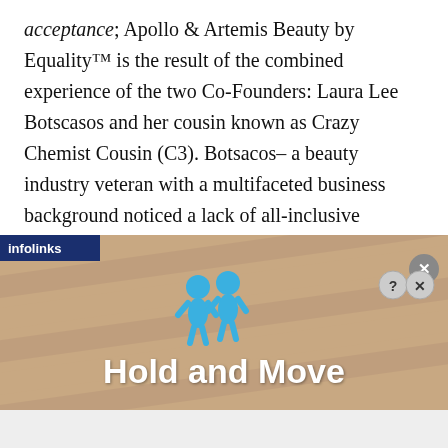acceptance; Apollo & Artemis Beauty by Equality™ is the result of the combined experience of the two Co-Founders: Laura Lee Botscasos and her cousin known as Crazy Chemist Cousin (C3). Botsacos– a beauty industry veteran with a multifaceted business background noticed a lack of all-inclusive skincare products and as an innate problem solver, set out to pioneer a unique new brand and sought the expertise of C3, whose twenty-five years of R&D experience and scientific prowess in the beauty industry helped lay the foundation for Botsacos' vision.
[Figure (screenshot): An advertisement banner with 'infolinks' label in dark blue at top-left, showing a 'Hold and Move' app/game advertisement with two blue human figures and diagonal stripe background. Close buttons (X and ?) appear at top-right.]